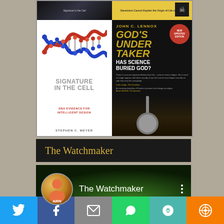[Figure (photo): Two book covers side by side. Left: 'Signature in the Cell - DNA Evidence for Intelligent Design' by Stephen C. Meyer, showing a DNA double helix graphic. Right: 'God's Undertaker - Has Science Buried God?' by John C. Lennox, with a gold/dark cover and New Updated Edition badge, with a shovel image.]
The Watchmaker
[Figure (screenshot): YouTube-style video thumbnail for 'The Watchmaker' with a circular channel icon and three-dot menu icon on dark green background.]
[Figure (infographic): Social sharing bar with buttons for Twitter, Facebook, Email, WhatsApp, SMS, and More.]